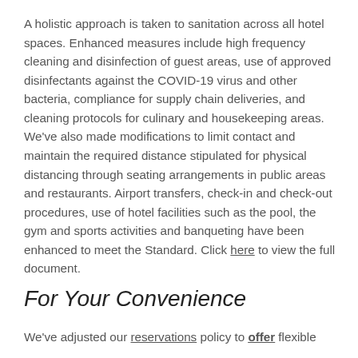A holistic approach is taken to sanitation across all hotel spaces. Enhanced measures include high frequency cleaning and disinfection of guest areas, use of approved disinfectants against the COVID-19 virus and other bacteria, compliance for supply chain deliveries, and cleaning protocols for culinary and housekeeping areas. We've also made modifications to limit contact and maintain the required distance stipulated for physical distancing through seating arrangements in public areas and restaurants. Airport transfers, check-in and check-out procedures, use of hotel facilities such as the pool, the gym and sports activities and banqueting have been enhanced to meet the Standard. Click here to view the full document.
For Your Convenience
We've adjusted our reservations policy to offer flexible